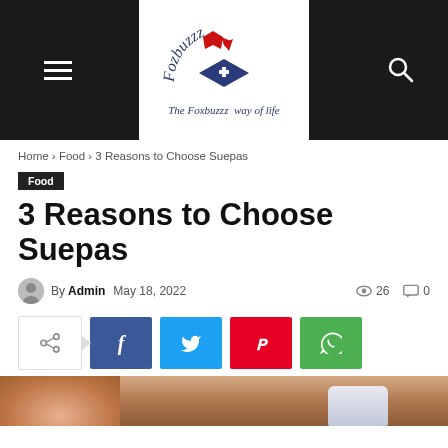[Figure (logo): Fozbuzzz website logo with red animal figure above blue diamond shape, text 'Fozbuzzz' in blue italic serif and tagline 'The Foxbuzzz way of life']
Home › Food › 3 Reasons to Choose Suepas
Food
3 Reasons to Choose Suepas
By Admin  May 18, 2022  26  0
[Figure (infographic): Social share buttons row: share icon (white/border), Facebook (blue f), Twitter (cyan bird), Pinterest (red P), WhatsApp (green phone)]
[Figure (photo): Bottom edge of a food-related photo showing warm brown/skin tones, partial view of hands and a cup]